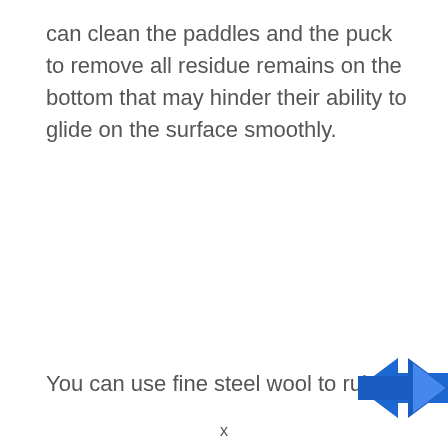can clean the paddles and the puck to remove all residue remains on the bottom that may hinder their ability to glide on the surface smoothly.
You can use fine steel wool to rub and smoot
[Figure (logo): Blue arrow logo partially visible in bottom right corner]